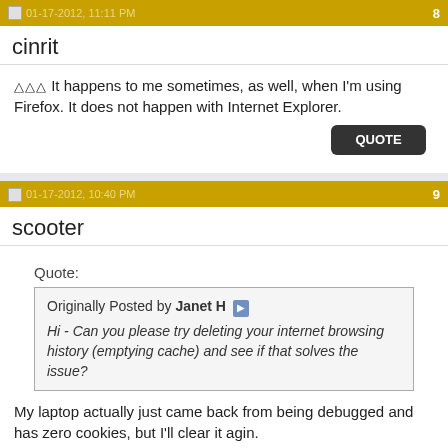01-17-2012, 10:40 PM  8
cinrit
△△△ It happens to me sometimes, as well, when I'm using Firefox. It does not happen with Internet Explorer.
QUOTE
01-17-2012, 10:40 PM  9
scooter
Quote:
Originally Posted by Janet H ▶
Hi - Can you please try deleting your internet browsing history (emptying cache) and see if that solves the issue?
My laptop actually just came back from being debugged and has zero cookies, but I'll clear it agin.
QUOTE
11-19-2012, 09:07 AM  10